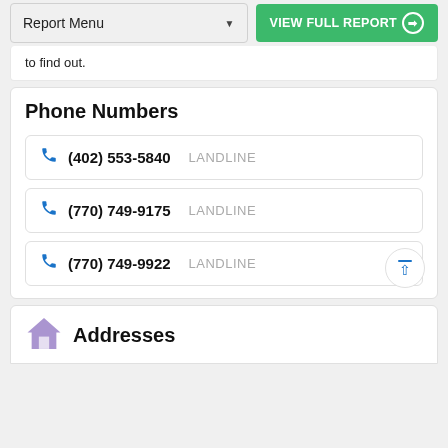Report Menu | VIEW FULL REPORT
to find out.
Phone Numbers
(402) 553-5840  LANDLINE
(770) 749-9175  LANDLINE
(770) 749-9922  LANDLINE
Addresses